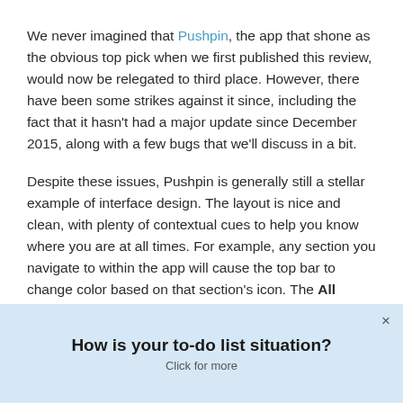We never imagined that Pushpin, the app that shone as the obvious top pick when we first published this review, would now be relegated to third place. However, there have been some strikes against it since, including the fact that it hasn't had a major update since December 2015, along with a few bugs that we'll discuss in a bit.
Despite these issues, Pushpin is generally still a stellar example of interface design. The layout is nice and clean, with plenty of contextual cues to help you know where you are at all times. For example, any section you navigate to within the app will cause the top bar to change color based on that section's icon. The All bookmark list is blue, the Private list is yellow, etc. Touches like these were a big part of why it was our top pick for a while.
How is your to-do list situation?
Click for more